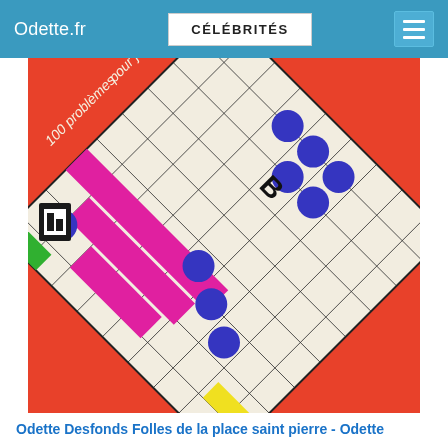Odette.fr | CÉLÉBRITÉS
[Figure (photo): Book cover of a board game puzzle book showing a diagonal grid with blue circular pieces, pink and yellow game pieces, on a red background. Text reads '100 problèmes pour jouer seul' with a publisher logo.]
Odette Desfonds Folles de la place saint pierre - Odette